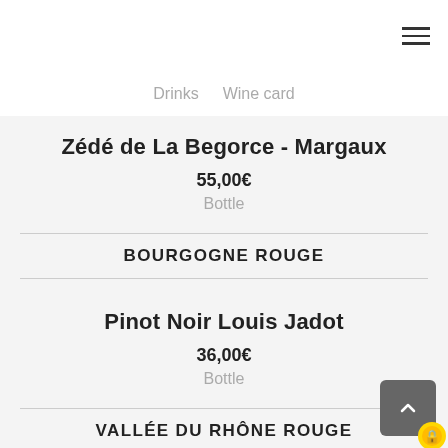[Figure (screenshot): Hamburger menu icon (three horizontal lines) in top right corner]
Drinks  Wine card
Zédé de La Begorce  -  Margaux
55,00€
Bottle
BOURGOGNE ROUGE
Pinot Noir Louis Jadot
36,00€
Bottle
VALLÉE DU RHÔNE ROUGE